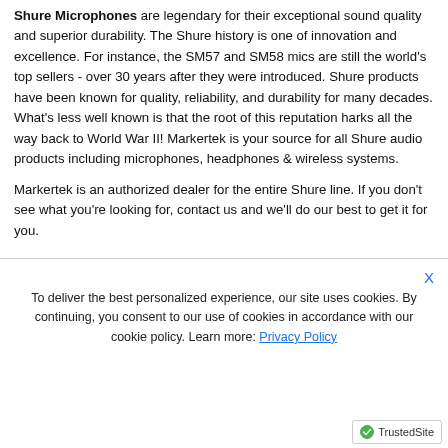Shure Microphones are legendary for their exceptional sound quality and superior durability. The Shure history is one of innovation and excellence. For instance, the SM57 and SM58 mics are still the world's top sellers - over 30 years after they were introduced. Shure products have been known for quality, reliability, and durability for many decades. What's less well known is that the root of this reputation harks all the way back to World War II! Markertek is your source for all Shure audio products including microphones, headphones & wireless systems.
Markertek is an authorized dealer for the entire Shure line. If you don't see what you're looking for, contact us and we'll do our best to get it for you.
To deliver the best personalized experience, our site uses cookies. By continuing, you consent to our use of cookies in accordance with our cookie policy. Learn more: Privacy Policy
GOT IT!
[Figure (logo): TrustedSite logo badge in bottom right corner]